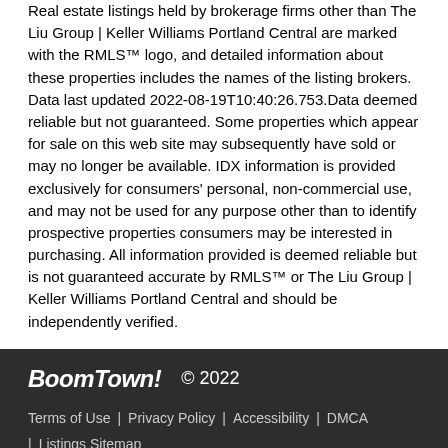Real estate listings held by brokerage firms other than The Liu Group | Keller Williams Portland Central are marked with the RMLS™ logo, and detailed information about these properties includes the names of the listing brokers. Data last updated 2022-08-19T10:40:26.753.Data deemed reliable but not guaranteed. Some properties which appear for sale on this web site may subsequently have sold or may no longer be available. IDX information is provided exclusively for consumers' personal, non-commercial use, and may not be used for any purpose other than to identify prospective properties consumers may be interested in purchasing. All information provided is deemed reliable but is not guaranteed accurate by RMLS™ or The Liu Group | Keller Williams Portland Central and should be independently verified.
BoomTown! © 2022
Terms of Use | Privacy Policy | Accessibility | DMCA | Listings Sitemap
Take a Tour    Ask A Question